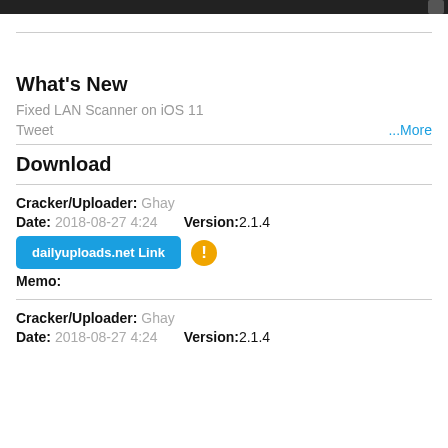[dark header bar]
What's New
Fixed LAN Scanner on iOS 11
Tweet                                                   ...More
Download
Cracker/Uploader: Ghay
Date: 2018-08-27 4:24    Version:2.1.4
dailyuploads.net Link
Memo:
Cracker/Uploader: Ghay
Date: 2018-08-27 4:24    Version:2.1.4